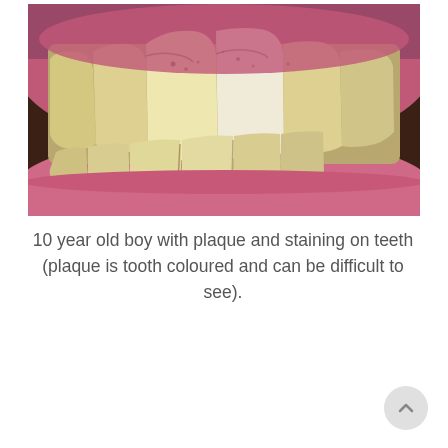[Figure (photo): Close-up photograph of a child's teeth showing plaque and staining. The gums appear pink/red and inflamed at the margins. The teeth are yellowish-white with visible dark spots and staining, particularly at the gumline and between teeth.]
10 year old boy with plaque and staining on teeth (plaque is tooth coloured and can be difficult to see).